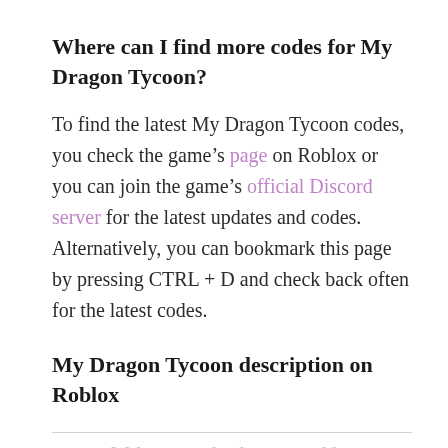Where can I find more codes for My Dragon Tycoon?
To find the latest My Dragon Tycoon codes, you check the game’s page on Roblox or you can join the game’s official Discord server for the latest updates and codes. Alternatively, you can bookmark this page by pressing CTRL + D and check back often for the latest codes.
My Dragon Tycoon description on Roblox
Welcome to the dragon world